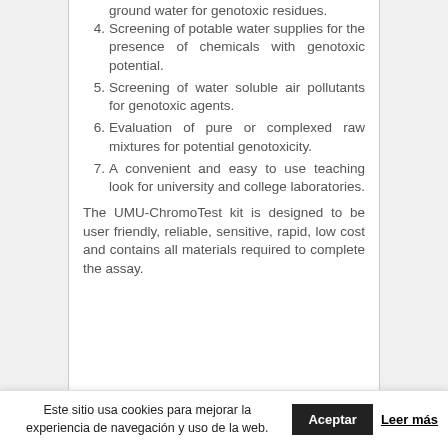4. Screening of potable water supplies for the presence of chemicals with genotoxic potential.
5. Screening of water soluble air pollutants for genotoxic agents.
6. Evaluation of pure or complexed raw mixtures for potential genotoxicity.
7. A convenient and easy to use teaching look for university and college laboratories.
The UMU-ChromoTest kit is designed to be user friendly, reliable, sensitive, rapid, low cost and contains all materials required to complete the assay.
Este sitio usa cookies para mejorar la experiencia de navegación y uso de la web. Aceptar Leer más